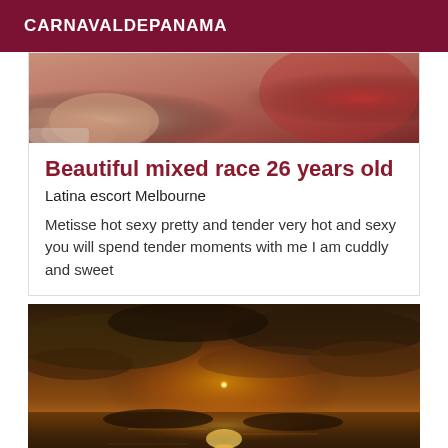CARNAVALDEPANAMA
[Figure (photo): Partial view of a person, cropped close-up photo used as card thumbnail]
Beautiful mixed race 26 years old
Latina escort Melbourne
Metisse hot sexy pretty and tender very hot and sexy you will spend tender moments with me I am cuddly and sweet
[Figure (photo): Sunset over water with dramatic clouds, golden orange glow reflected on the sea]